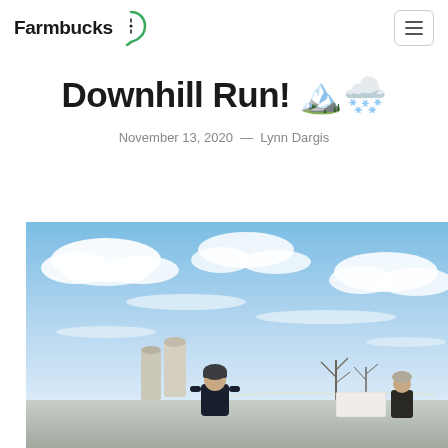Farmbucks
Downhill Run! 🏔️🌨️
November 13, 2020  —  Lynn Dargis
[Figure (photo): Outdoor winter farm scene: person in dark jacket and beanie hat, grain silos in background, blue sky with white clouds]